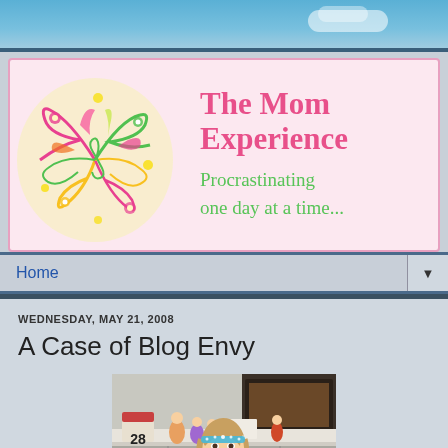[Figure (illustration): Blog header banner for 'The Mom Experience' blog with pink background, decorative floral/swirl artwork on the left, blog title in pink cursive font, and subtitle 'Procrastinating one day at a time...' in green cursive font]
Home
WEDNESDAY, MAY 21, 2008
A Case of Blog Envy
[Figure (photo): Photo of a young blonde girl wearing a blue sparkly headband, standing in front of a white fireplace mantel with various decorative items including small figurines, a calendar showing 28, and framed pictures]